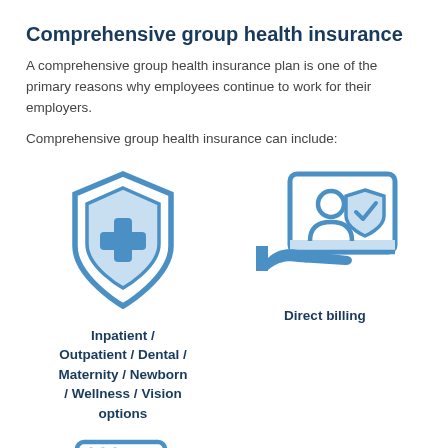Comprehensive group health insurance
A comprehensive group health insurance plan is one of the primary reasons why employees continue to work for their employers.
Comprehensive group health insurance can include:
[Figure (illustration): Blue shield icon with a medical cross inside, representing inpatient/outpatient/dental/maternity/newborn/wellness/vision health coverage options]
Inpatient / Outpatient / Dental / Maternity / Newborn / Wellness / Vision options
[Figure (illustration): Blue icon of a hand holding an ID card with a shield checkmark, representing direct billing]
Direct billing
[Figure (illustration): Blue icon of a computer/laptop screen, partially visible at bottom left]
[Figure (illustration): Blue circular icon, partially visible at bottom right]